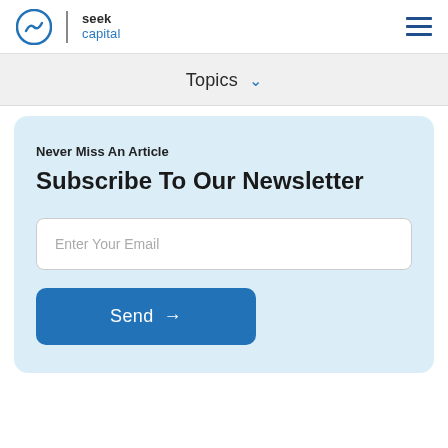seek capital
Topics ▾
Never Miss An Article
Subscribe To Our Newsletter
Enter Your Email
Send →